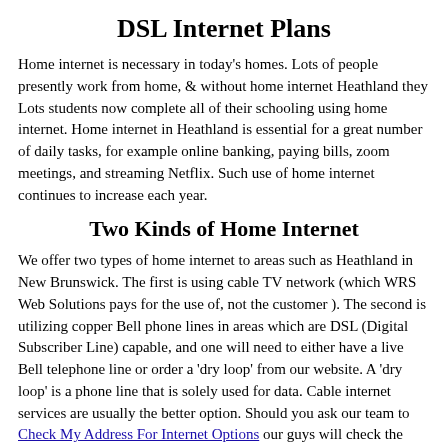DSL Internet Plans
Home internet is necessary in today's homes. Lots of people presently work from home, & without home internet Heathland they Lots students now complete all of their schooling using home internet. Home internet in Heathland is essential for a great number of daily tasks, for example online banking, paying bills, zoom meetings, and streaming Netflix. Such use of home internet continues to increase each year.
Two Kinds of Home Internet
We offer two types of home internet to areas such as Heathland in New Brunswick. The first is using cable TV network (which WRS Web Solutions pays for the use of, not the customer ). The second is utilizing copper Bell phone lines in areas which are DSL (Digital Subscriber Line) capable, and one will need to either have a live Bell telephone line or order a 'dry loop' from our website. A 'dry loop' is a phone line that is solely used for data. Cable internet services are usually the better option. Should you ask our team to Check My Address For Internet Options our guys will check the address for cable internet and get back to you by email the same or next day. In the situation where cable internet is not an option then